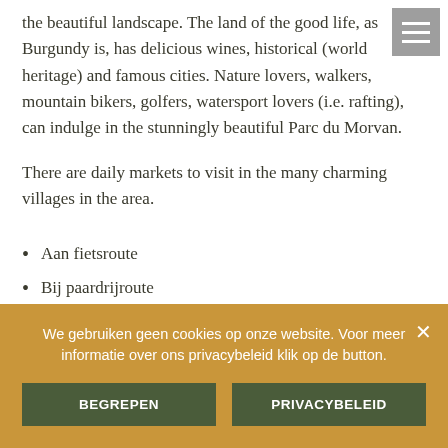the beautiful landscape. The land of the good life, as Burgundy is, has delicious wines, historical (world heritage) and famous cities. Nature lovers, walkers, mountain bikers, golfers, watersport lovers (i.e. rafting), can indulge in the stunningly beautiful Parc du Morvan.
There are daily markets to visit in the many charming villages in the area.
Aan fietsroute
Bij paardrijroute
Watersport
We gebruiken geen cookies op onze website. Voor meer informatie over ons privacybeleid klik op de button.